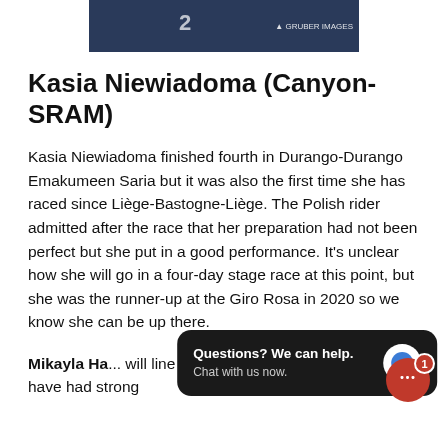[Figure (photo): Partial photo strip showing a person in a blue jersey with number 2, with a Gruber Images watermark in the top right corner]
Kasia Niewiadoma (Canyon-SRAM)
Kasia Niewiadoma finished fourth in Durango-Durango Emakumeen Saria but it was also the first time she has raced since Liège-Bastogne-Liège. The Polish rider admitted after the race that her preparation had not been perfect but she put in a good performance. It's unclear how she will go in a four-day stage race at this point, but she was the runner-up at the Giro Rosa in 2020 so we know she can be up there.
Mikayla Ha... will line up alongside Niewiadoma. Both have had strong
[Figure (screenshot): Chat popup overlay with dark background reading 'Questions? We can help. Chat with us now.' with a blue circle chat icon, and a red notification badge with '1' in the bottom right]